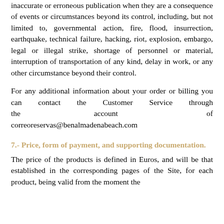inaccurate or erroneous publication when they are a consequence of events or circumstances beyond its control, including, but not limited to, governmental action, fire, flood, insurrection, earthquake, technical failure, hacking, riot, explosion, embargo, legal or illegal strike, shortage of personnel or material, interruption of transportation of any kind, delay in work, or any other circumstance beyond their control.
For any additional information about your order or billing you can contact the Customer Service through the account of correoreservas@benalmadenabeach.com
7.- Price, form of payment, and supporting documentation.
The price of the products is defined in Euros, and will be that established in the corresponding pages of the Site, for each product, being valid from the moment the